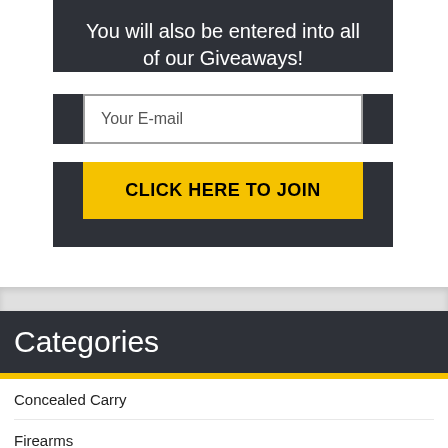You will also be entered into all of our Giveaways!
[Figure (other): Email input field with placeholder text 'Your E-mail']
[Figure (other): Yellow button labeled 'CLICK HERE TO JOIN']
Categories
Concealed Carry
Firearms